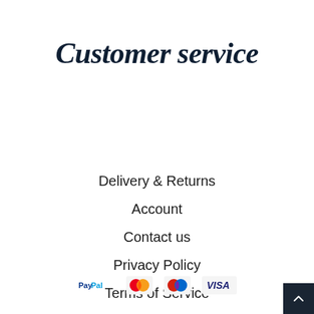Customer service
Delivery & Returns
Account
Contact us
Privacy Policy
Terms of Service
Refund policy
[Figure (logo): Payment method icons: PayPal, Mastercard (red/orange), Mastercard (blue/red), Visa]